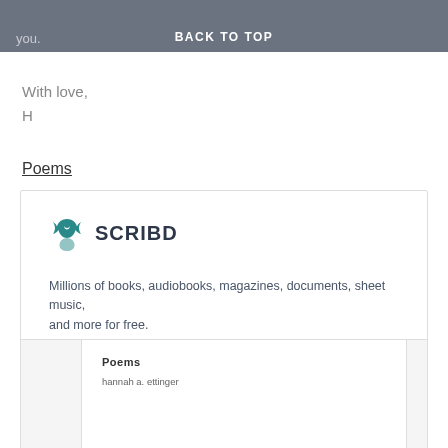you.   BACK TO TOP
With love,
H
Poems
[Figure (screenshot): Scribd embedded card showing logo, tagline 'Millions of books, audiobooks, magazines, documents, sheet music, and more for free.' and a preview of a document titled 'Poems' by 'hannah a. ettinger']